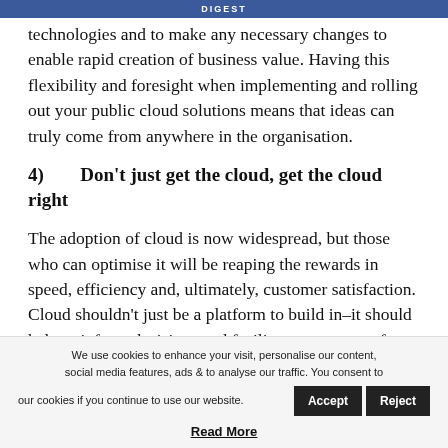DIGEST
technologies and to make any necessary changes to enable rapid creation of business value. Having this flexibility and foresight when implementing and rolling out your public cloud solutions means that ideas can truly come from anywhere in the organisation.
4)    Don't just get the cloud, get the cloud right
The adoption of cloud is now widespread, but those who can optimise it will be reaping the rewards in speed, efficiency and, ultimately, customer satisfaction. Cloud shouldn't just be a platform to build in–it should help to inform decisions and facilitate new ways of working, ultimately producing something greater than the sum of
We use cookies to enhance your visit, personalise our content, social media features, ads & to analyse our traffic. You consent to our cookies if you continue to use our website.
Read More